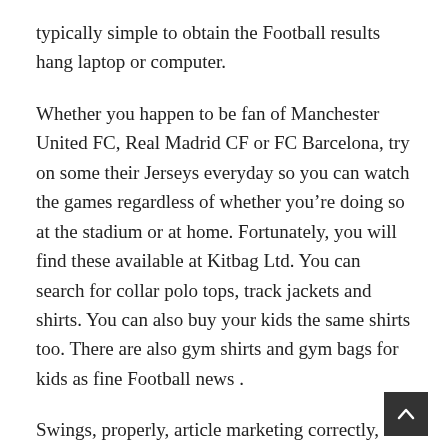typically simple to obtain the Football results hang laptop or computer.
Whether you happen to be fan of Manchester United FC, Real Madrid CF or FC Barcelona, try on some their Jerseys everyday so you can watch the games regardless of whether you’re doing so at the stadium or at home. Fortunately, you will find these available at Kitbag Ltd. You can search for collar polo tops, track jackets and shirts. You can also buy your kids the same shirts too. There are also gym shirts and gym bags for kids as fine Football news .
Swings, properly, article marketing correctly, can achieve more for an closing speed than any other exercise aside from box legups. The problem is most people do them incorrectly. Perform them on the